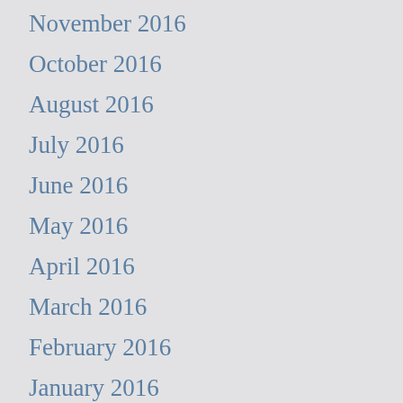November 2016
October 2016
August 2016
July 2016
June 2016
May 2016
April 2016
March 2016
February 2016
January 2016